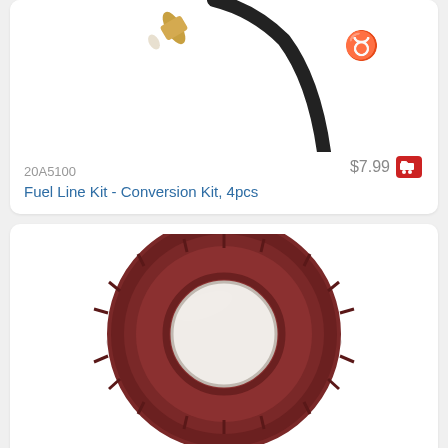[Figure (photo): Top portion of a product card showing a fuel line kit with tubing and a fuel filter visible against white background (partially cropped at top)]
20A5100
$7.99
Fuel Line Kit - Conversion Kit, 4pcs
[Figure (photo): A brown/dark red oil seal ring (30mm ID, 47mm OD, 7mm thick) photographed on white background, showing the circular rubber seal with notches around the outer edge]
20A5577
$6.39
Oil Seal - 30mm ID, 47mm OD, 7mm Thick
[Figure (photo): Bottom partial product card image, partially visible at the bottom of the page]